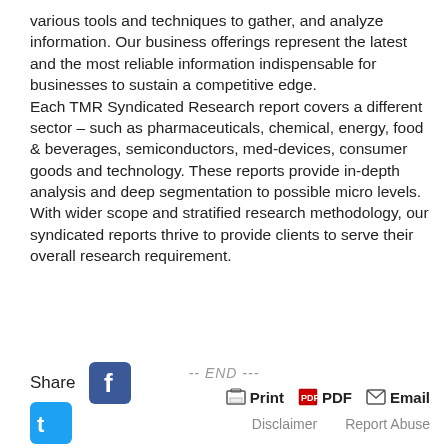various tools and techniques to gather, and analyze information. Our business offerings represent the latest and the most reliable information indispensable for businesses to sustain a competitive edge. Each TMR Syndicated Research report covers a different sector – such as pharmaceuticals, chemical, energy, food & beverages, semiconductors, med-devices, consumer goods and technology. These reports provide in-depth analysis and deep segmentation to possible micro levels. With wider scope and stratified research methodology, our syndicated reports thrive to provide clients to serve their overall research requirement.
-- END ---
Share
[Figure (logo): Facebook share button icon]
[Figure (logo): Twitter/social share button icon]
Print   PDF   Email
Disclaimer   Report Abuse